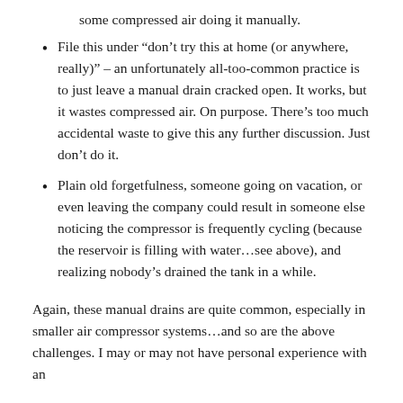some compressed air doing it manually.
File this under “don’t try this at home (or anywhere, really)” – an unfortunately all-too-common practice is to just leave a manual drain cracked open. It works, but it wastes compressed air. On purpose. There’s too much accidental waste to give this any further discussion. Just don’t do it.
Plain old forgetfulness, someone going on vacation, or even leaving the company could result in someone else noticing the compressor is frequently cycling (because the reservoir is filling with water…see above), and realizing nobody’s drained the tank in a while.
Again, these manual drains are quite common, especially in smaller air compressor systems…and so are the above challenges. I may or may not have personal experience with an